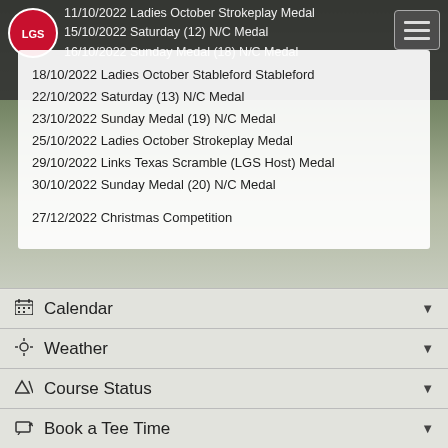11/10/2022 Ladies October Strokeplay Medal
15/10/2022 Saturday (12) N/C Medal
16/10/2022 Sunday Medal (18) N/C Medal
18/10/2022 Ladies October Stableford Stableford
22/10/2022 Saturday (13) N/C Medal
23/10/2022 Sunday Medal (19) N/C Medal
25/10/2022 Ladies October Strokeplay Medal
29/10/2022 Links Texas Scramble (LGS Host) Medal
30/10/2022 Sunday Medal (20) N/C Medal
27/12/2022 Christmas Competition
Calendar
Weather
Course Status
Book a Tee Time